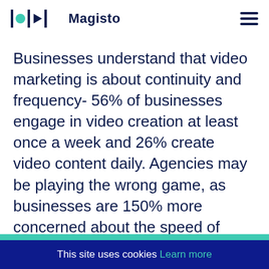Magisto
Businesses understand that video marketing is about continuity and frequency- 56% of businesses engage in video creation at least once a week and 26% create video content daily. Agencies may be playing the wrong game, as businesses are 150% more concerned about the speed of video creation than the cost. Creating more videos more often is the goal.
This site uses cookies Learn more